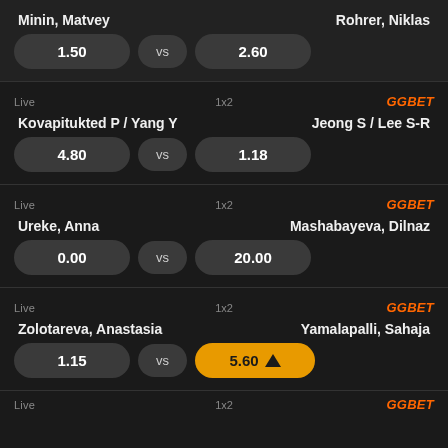Minin, Matvey vs Rohrer, Niklas | 1.50 vs 2.60
Live | 1x2 | GGBET
Kovapitukted P / Yang Y vs Jeong S / Lee S-R | 4.80 vs 1.18
Live | 1x2 | GGBET
Ureke, Anna vs Mashabayeva, Dilnaz | 0.00 vs 20.00
Live | 1x2 | GGBET
Zolotareva, Anastasia vs Yamalapalli, Sahaja | 1.15 vs 5.60 (highlighted)
Live | 1x2 | GGBET